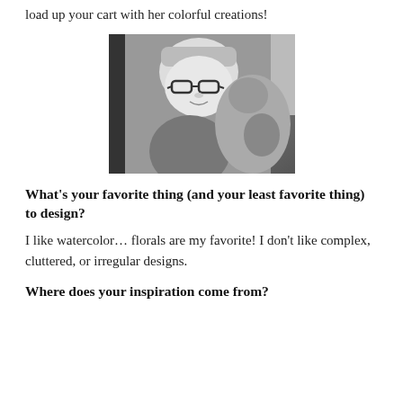load up your cart with her colorful creations!
[Figure (photo): Black and white photo of a young woman with bangs wearing glasses, smiling and leaning against a large stuffed animal or plush toy, with curtains visible in the background.]
What’s your favorite thing (and your least favorite thing) to design?
I like watercolor… florals are my favorite! I don’t like complex, cluttered, or irregular designs.
Where does your inspiration come from?